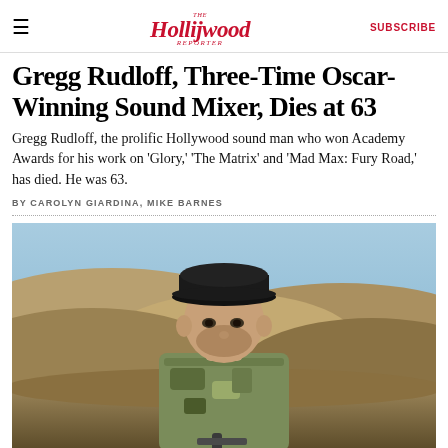The Hollywood Reporter | SUBSCRIBE
Gregg Rudloff, Three-Time Oscar-Winning Sound Mixer, Dies at 63
Gregg Rudloff, the prolific Hollywood sound man who won Academy Awards for his work on 'Glory,' 'The Matrix' and 'Mad Max: Fury Road,' has died. He was 63.
BY CAROLYN GIARDINA, MIKE BARNES
[Figure (photo): Man in camouflage jacket and black baseball cap standing outdoors in front of brown, dry rolling hills under a blue sky.]